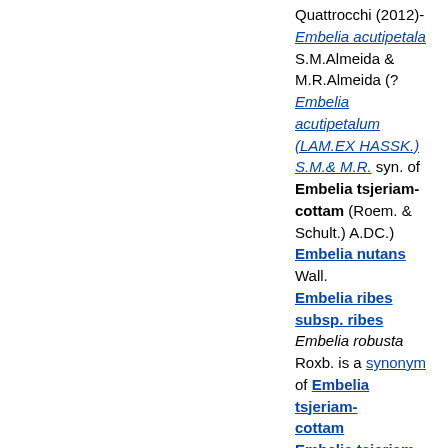Quattrocchi (2012)- Embelia acutipetala S.M.Almeida & M.R.Almeida (? Embelia acutipetalum (LAM.EX HASSK.) S.M.& M.R. syn. of Embelia tsjeriam-cottam (Roem. & Schult.) A.DC.) Embelia nutans Wall. Embelia ribes subsp. ribes Embelia robusta Roxb. is a synonym of Embelia tsjeriam-cottam Embelia tsjeriam-cottam Embelia undulata (is a synonym of